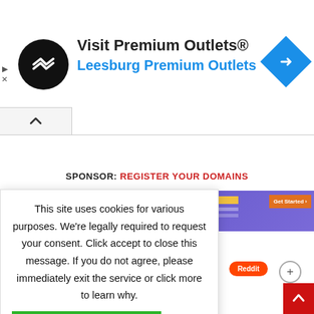[Figure (screenshot): Advertisement banner: Visit Premium Outlets® with Leesburg Premium Outlets subtitle and navigation icon]
SPONSOR: REGISTER YOUR DOMAINS
[Figure (screenshot): Cookie consent modal overlay on a website. Text: This site uses cookies for various purposes. We're legally required to request your consent. Click accept to close this message. If you do not agree, please immediately exit the service or click more to learn why. Accept button (green) and More button (black).]